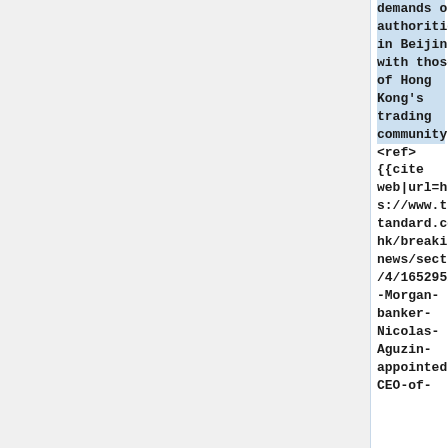demands of authorities in Beijing with those of Hong Kong's trading community. <ref> {{cite web|url=https://www.thestandard.com.hk/breaking-news/section/4/165295/JP-Morgan-banker-Nicolas-Aguzin-appointed-CEO-of-